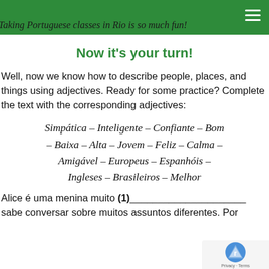Taking Portuguese classes in Rio is so much fun!
Now it's your turn!
Well, now we know how to describe people, places, and things using adjectives. Ready for some practice? Complete the text with the corresponding adjectives:
Simpática – Inteligente – Confiante – Bom – Baixa – Alta – Jovem – Feliz – Calma – Amigável – Europeus – Espanhóis – Ingleses – Brasileiros – Melhor
Alice é uma menina muito (1)_____________ sabe conversar sobre muitos assuntos diferentes. Por